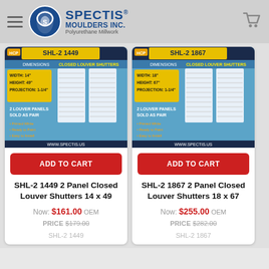SPECTIS MOULDERS INC. Polyurethane Millwork
[Figure (screenshot): Product image for SHL-2 1449 2 Panel Closed Louver Shutters showing product dimensions spec sheet with blue background, yellow dimension labels, Width 14", Height 49", Projection 1-1/4", 2 Louver Panels Sold as Pair, www.spectis.us]
ADD TO CART
SHL-2 1449 2 Panel Closed Louver Shutters 14 x 49
Now: $161.00  OEM PRICE $179.00
SHL-2 1449
[Figure (screenshot): Product image for SHL-2 1867 2 Panel Closed Louver Shutters showing product dimensions spec sheet with blue background, yellow dimension labels, Width 18", Height 67", Projection 1-1/4", 2 Louver Panels Sold as Pair, www.spectis.us]
ADD TO CART
SHL-2 1867 2 Panel Closed Louver Shutters 18 x 67
Now: $255.00  OEM PRICE $282.00
SHL-2 1867